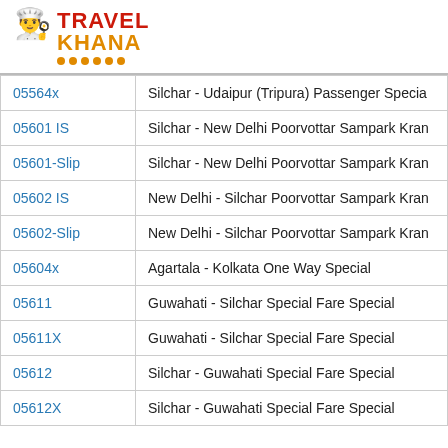[Figure (logo): Travel Khana logo with chef hat icon, red and orange text, orange dots underline]
| 05564x | Silchar - Udaipur (Tripura) Passenger Specia |
| 05601 IS | Silchar - New Delhi Poorvottar Sampark Kran |
| 05601-Slip | Silchar - New Delhi Poorvottar Sampark Kran |
| 05602 IS | New Delhi - Silchar Poorvottar Sampark Kran |
| 05602-Slip | New Delhi - Silchar Poorvottar Sampark Kran |
| 05604x | Agartala - Kolkata One Way Special |
| 05611 | Guwahati - Silchar Special Fare Special |
| 05611X | Guwahati - Silchar Special Fare Special |
| 05612 | Silchar - Guwahati Special Fare Special |
| 05612X | Silchar - Guwahati Special Fare Special |